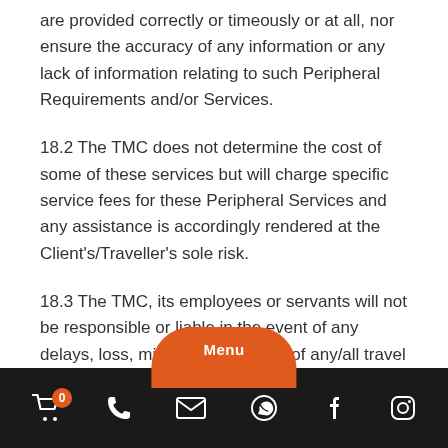are provided correctly or timeously or at all, nor ensure the accuracy of any information or any lack of information relating to such Peripheral Requirements and/or Services.
18.2 The TMC does not determine the cost of some of these services but will charge specific service fees for these Peripheral Services and any assistance is accordingly rendered at the Client's/Traveller's sole risk.
18.3 The TMC, its employees or servants will not be responsible or liable in the event of any delays, loss, misdirection or theft of any/all travel documents and passports when using its messenger, the post office, document exchange or independent courier company for the delivery/collection of any documents/passports to/from